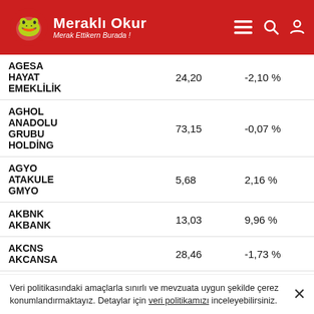Meraklı Okur — Merak Ettiklern Burada !
|  | Fiyat | Değişim |
| --- | --- | --- |
| AGESA HAYAT EMEKLİLİK | 24,20 | -2,10 % |
| AGHOL ANADOLU GRUBU HOLDİNG | 73,15 | -0,07 % |
| AGYO ATAKULE GMYO | 5,68 | 2,16 % |
| AKBNK AKBANK | 13,03 | 9,96 % |
| AKCNS AKCANSA | 28,46 | -1,73 % |
| AKENR AK ENERJİ | 2,08 | 0,00 % |
| AKFGY |  |  |
| AKFEN | 1,07 | 1,66 % |
| AKGRT |  |  |
Veri politikasındaki amaçlarla sınırlı ve mevzuata uygun şekilde çerez konumlandırmaktayız. Detaylar için veri politikamızı inceleyebilirsiniz.